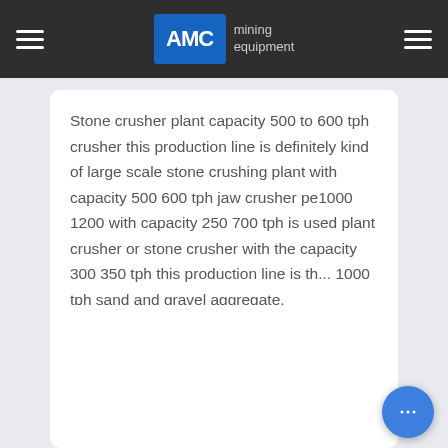AMC mining equipment
Stone crusher plant capacity 500 to 600 tph crusher this production line is definitely kind of large scale stone crushing plant with capacity 500 600 tph jaw crusher pe1000 1200 with capacity 250 700 tph is used plant crusher or stone crusher with the capacity 300 350 tph this production line is th... 1000 tph sand and gravel aggregate.
[Figure (other): Empty white card section below the text content]